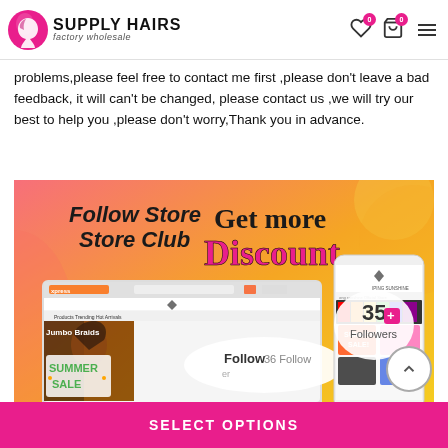SUPPLY HAIRS factory wholesale
problems,please feel free to contact me first ,please don’t leave a bad feedback, it will can’t be changed, please contact us ,we will try our best to help you ,please don’t worry,Thank you in advance.
[Figure (illustration): Promotional banner for Supply Hairs AliExpress store: 'Follow Store Store Club Get more Discount' with laptop and phone screenshots showing the store page, Follow button with 36 Followers, 35 Followers badge, Summer Sale banner with Jumbo Braids and colorful hair products. Bottom text: ALIEXPRESS SPRING YUANSHINE OFFICIAL T...]
SELECT OPTIONS